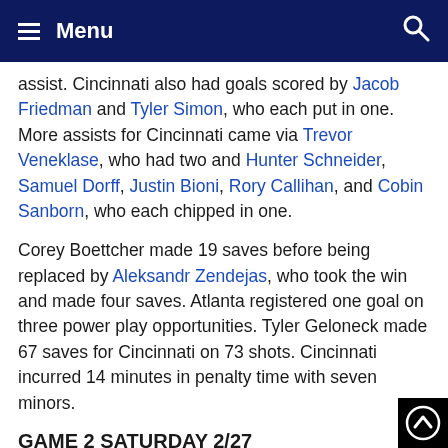Menu
assist. Cincinnati also had goals scored by Jacob Friedman and Tyler Simon, who each put in one. More assists for Cincinnati came via Trevor Veneklase, who had two and Hunter Schneider, Samuel Dorff, Justin Bioni, Rory Callihan, and Cobin Sanborn, who each chipped in one.
Corey Boettcher made 19 saves before being replaced by Aleksandr Zendejas, who took the win and made four saves. Atlanta registered one goal on three power play opportunities. Tyler Geloneck made 67 saves for Cincinnati on 73 shots. Cincinnati incurred 14 minutes in penalty time with seven minors.
GAME 2 SATURDAY 2/27
Atlanta won 7-3 over Cincinnati.
Atlanta forced Cincinnati…